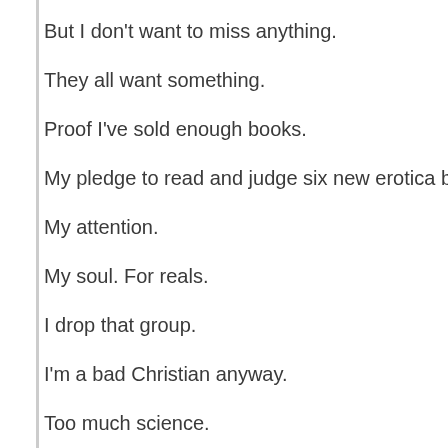But I don't want to miss anything.
They all want something.
Proof I've sold enough books.
My pledge to read and judge six new erotica books.
My attention.
My soul. For reals.
I drop that group.
I'm a bad Christian anyway.
Too much science.
But I love you guys.